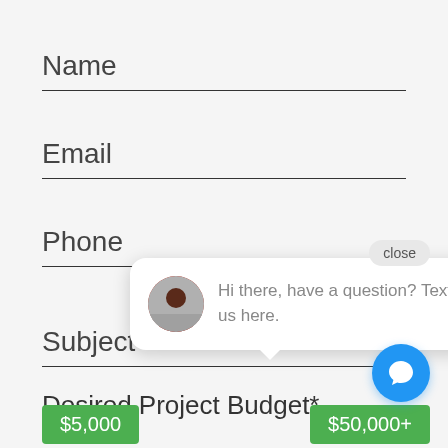Name
Email
Phone
close
Subject
[Figure (illustration): Chat widget bubble with avatar photo of a woman and text: Hi there, have a question? Text us here.]
Desired Project Budget*
$5,000
$50,000+